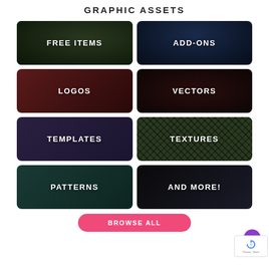GRAPHIC ASSETS
[Figure (illustration): Grid of 8 category cards: FREE ITEMS, ADD-ONS, LOGOS, VECTORS, TEMPLATES, TEXTURES, PATTERNS, AND MORE!]
FREE ITEMS
ADD-ONS
LOGOS
VECTORS
TEMPLATES
TEXTURES
PATTERNS
AND MORE!